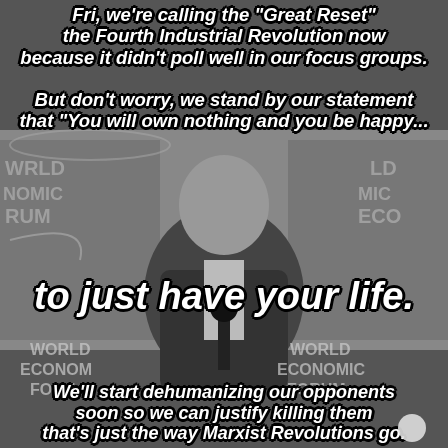[Figure (photo): Black and white photo of an elderly bald man in a suit speaking at a podium with microphone, with World Economic Forum backdrop/banners visible behind him. Text overlay meme.]
Fri, we're calling the 'Great Reset' the Fourth Industrial Revolution now because it didn't poll well in our focus groups. But don't worry, we stand by our statement that 'You will own nothing and you be happy...
to just have your life.
We'll start dehumanizing our opponents soon so we can justify killing them that's just the way Marxist Revolutions go.